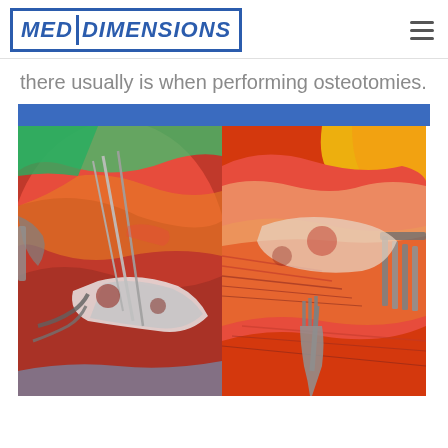MED DIMENSIONS
there usually is when performing osteotomies.
[Figure (photo): Two side-by-side surgical photographs showing osteotomy procedures. Left image shows a surgical site with metal pins/wires inserted into tissue with retractors holding open the incision, revealing bone and cartilage. Right image shows a similar surgical site with metal retractors and what appears to be a fork-shaped surgical instrument, with exposed bone and surrounding tissue.]